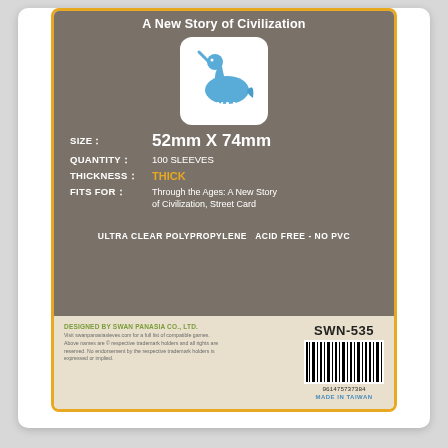A New Story of Civilization
[Figure (logo): Swan Panasia logo: white rounded square with blue swan/narwhal illustration and SWAN text]
SIZE: 52mm X 74mm
QUANTITY: 100 SLEEVES
THICKNESS: THICK
FITS FOR: Through the Ages: A New Story of Civilization, Street Card
ULTRA CLEAR POLYPROPYLENE   ACID FREE - NO PVC
DESIGNED BY SWAN PANASIA CO., LTD.
Visit swanpanasiacleves.com for a full list of compatible games. Above names are © respective trademark holders and all rights are reserved. No endorsement by the respective trademark holders is expressed or implied.
[Figure (other): Barcode with number 061475737384, SWN-535 label, MADE IN TAIWAN text]